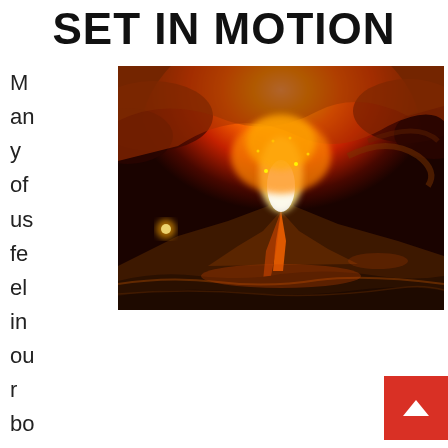SET IN MOTION
[Figure (illustration): Dramatic painting of a volcanic eruption at night with glowing orange and red sky, lava, swirling clouds, and a mountainous landscape below.]
Many of us feel in our bones that the years to come will bring tremendous death and destruction. We should neither deny nor